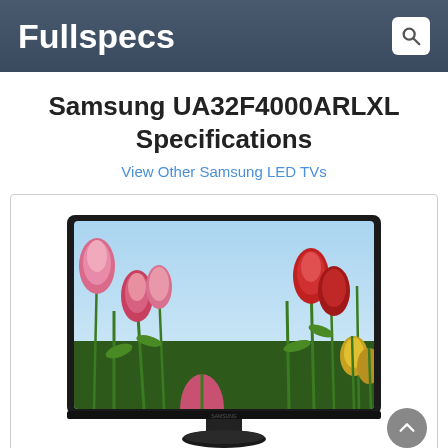Fullspecs
Samsung UA32F4000ARLXL Specifications
View Other Samsung LED TVs
[Figure (photo): Samsung UA32F4000ARLXL LED TV displaying a field of colorful tulips on screen, with a black slim bezel and a round stand]